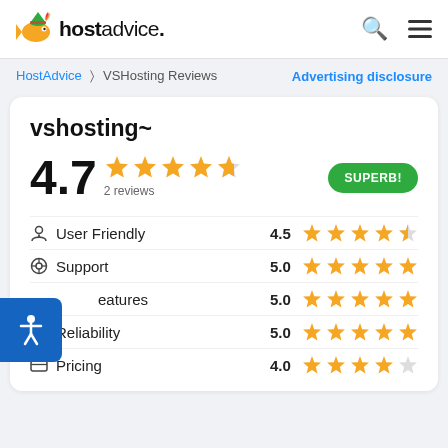hostadvice. (logo) search menu
HostAdvice > VSHosting Reviews   Advertising disclosure
vshosting~
[Figure (infographic): Rating display showing 4.7 stars (4.7 out of 5, 5 gold stars with last partially filled), 2 reviews, SUPERB! badge in green]
User Friendly  4.5  (4.5 stars)
Support  5.0  (5 stars)
Features  5.0  (5 stars)
Reliability  5.0  (5 stars)
Pricing  4.0  (4 stars)